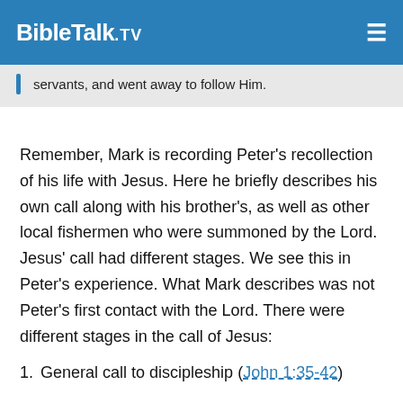BibleTalk.TV
servants, and went away to follow Him.
Remember, Mark is recording Peter's recollection of his life with Jesus. Here he briefly describes his own call along with his brother's, as well as other local fishermen who were summoned by the Lord. Jesus' call had different stages. We see this in Peter's experience. What Mark describes was not Peter's first contact with the Lord. There were different stages in the call of Jesus:
1. General call to discipleship (John 1:35-42)